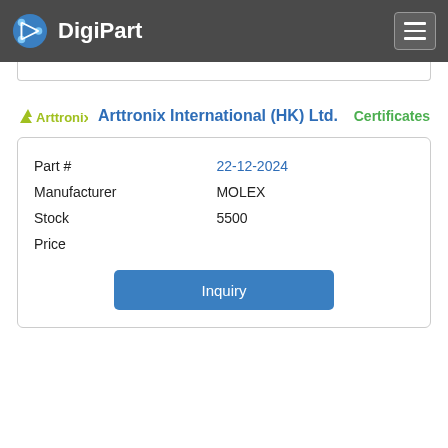DigiPart
Arttronix International (HK) Ltd.   Certificates
| Field | Value |
| --- | --- |
| Part # | 22-12-2024 |
| Manufacturer | MOLEX |
| Stock | 5500 |
| Price |  |